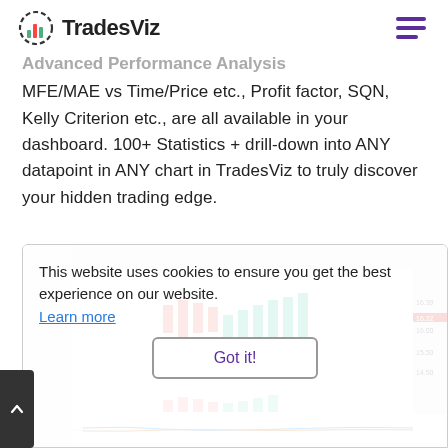TradesViz
Advanced Performance Analysis MFE/MAE vs Time/Price etc., Profit factor, SQN, Kelly Criterion etc., are all available in your dashboard. 100+ Statistics + drill-down into ANY datapoint in ANY chart in TradesViz to truly discover your hidden trading edge.
[Figure (screenshot): TradesViz trading chart screenshot showing candlestick chart with price data, overlaid with a cookie consent popup that reads 'This website uses cookies to ensure you get the best experience on our website. Learn more' and a 'Got it!' button.]